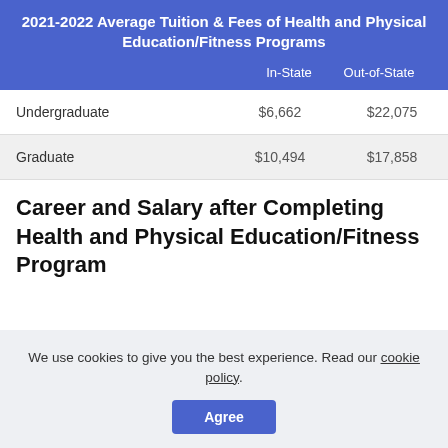|  | In-State | Out-of-State |
| --- | --- | --- |
| Undergraduate | $6,662 | $22,075 |
| Graduate | $10,494 | $17,858 |
Career and Salary after Completing Health and Physical Education/Fitness Program
We use cookies to give you the best experience. Read our cookie policy.